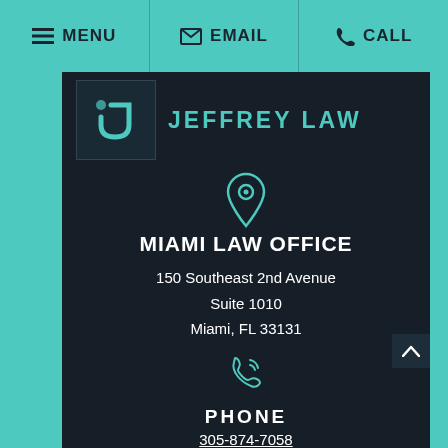MENU | EMAIL | CALL
[Figure (logo): Jeffrey Law firm logo with stylized J letter mark in a box, followed by firm name 'JEFFREY LAW' in teal]
[Figure (illustration): Teal location pin / map marker icon]
MIAMI LAW OFFICE
150 Southeast 2nd Avenue
Suite 1010
Miami, FL 33131
[Figure (illustration): Teal phone/call icon with signal waves]
PHONE
305-874-7058